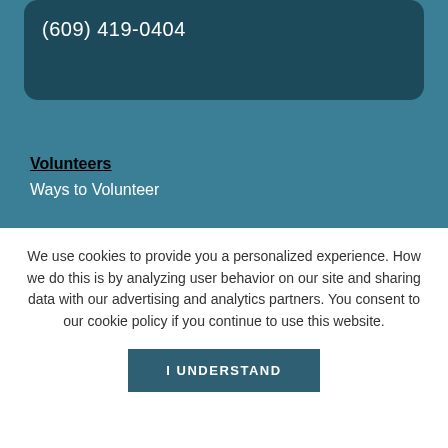(609) 419-0404
Volunteers
Ways to Volunteer
Schools and Parents
Program Supplements
We use cookies to provide you a personalized experience. How we do this is by analyzing user behavior on our site and sharing data with our advertising and analytics partners. You consent to our cookie policy if you continue to use this website.
I UNDERSTAND